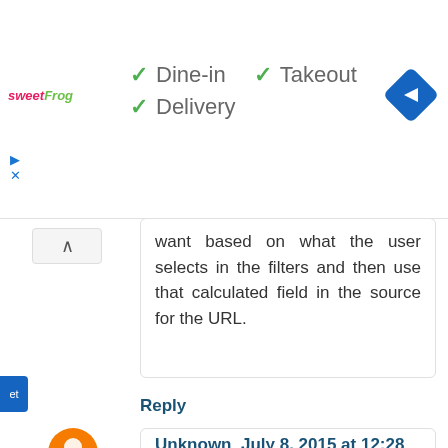[Figure (screenshot): Ad banner with sweetFrog logo, checkmarks for Dine-in, Takeout, Delivery, and a blue diamond navigation icon]
want based on what the user selects in the filters and then use that calculated field in the source for the URL.
Reply
Unknown  July 8, 2015 at 12:28 AM
Can you pass the "All" option in a filter? I have a view that I want to render, but it is blank because one of the filters has nothing selected..
This is what I would like to pass:
views/ASY_PAK_Reports/TrendLine?
SUB_FAMILY_NAME=BARTS&TEST_CLASS=ASSY